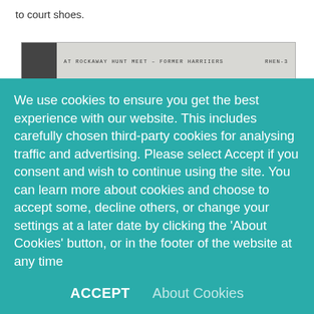to court shoes.
[Figure (photo): A scanned archival photo strip with a caption bar reading 'AT ROCKAWAY HUNT MEET – FORMER HARRIIERS' and an identifier 'RHEN-3' on the right side.]
We use cookies to ensure you get the best experience with our website. This includes carefully chosen third-party cookies for analysing traffic and advertising. Please select Accept if you consent and wish to continue using the site. You can learn more about cookies and choose to accept some, decline others, or change your settings at a later date by clicking the 'About Cookies' button, or in the footer of the website at any time
ACCEPT   About Cookies